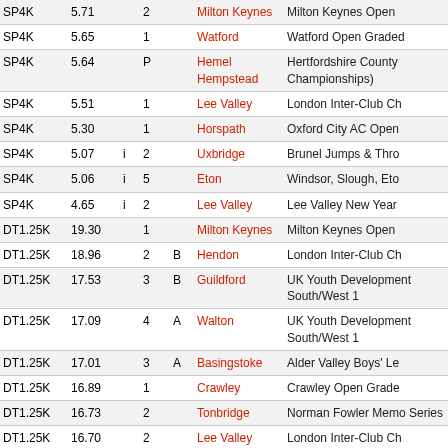| Event | Perf |  | Pos | Gr | Venue | Meeting |
| --- | --- | --- | --- | --- | --- | --- |
| SP4K | 5.71 |  | 2 |  | Milton Keynes | Milton Keynes Open |
| SP4K | 5.65 |  | 1 |  | Watford | Watford Open Graded |
| SP4K | 5.64 |  | P |  | Hemel Hempstead | Hertfordshire County Championships) |
| SP4K | 5.51 |  | 1 |  | Lee Valley | London Inter-Club Ch |
| SP4K | 5.30 |  | 1 |  | Horspath | Oxford City AC Open |
| SP4K | 5.07 | i | 2 |  | Uxbridge | Brunel Jumps & Thro |
| SP4K | 5.06 | i | 5 |  | Eton | Windsor, Slough, Eto |
| SP4K | 4.65 | i | 2 |  | Lee Valley | Lee Valley New Year |
| DT1.25K | 19.30 |  | 1 |  | Milton Keynes | Milton Keynes Open |
| DT1.25K | 18.96 |  | 2 | B | Hendon | London Inter-Club Ch |
| DT1.25K | 17.53 |  | 3 | B | Guildford | UK Youth Development South/West 1 |
| DT1.25K | 17.09 |  | 4 | A | Walton | UK Youth Development South/West 1 |
| DT1.25K | 17.01 |  | 3 | A | Basingstoke | Alder Valley Boys' Le |
| DT1.25K | 16.89 |  | 1 |  | Crawley | Crawley Open Grade |
| DT1.25K | 16.73 |  | 2 |  | Tonbridge | Norman Fowler Memo Series |
| DT1.25K | 16.70 |  | 2 |  | Lee Valley | London Inter-Club Ch |
| DT1.25K | 16.62 |  | 3 | B | Kingston | UK Youth Development South/West 1 |
| DT1.25K | 16.40 |  | 1 |  | Stevenage | Hertfordshire County Championships (Inc H |
| DT1.25K | 14.48 |  | 2 | B | Bracknell | Alder Valley Boys' Le |
| DT1.25K | 14.33 |  | 3 | A | Uxbridge | Alder Valley Boys' Le |